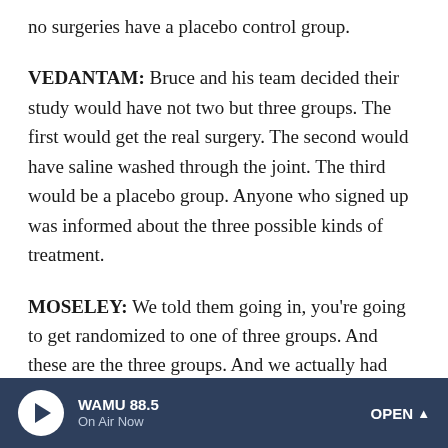no surgeries have a placebo control group.
VEDANTAM: Bruce and his team decided their study would have not two but three groups. The first would get the real surgery. The second would have saline washed through the joint. The third would be a placebo group. Anyone who signed up was informed about the three possible kinds of treatment.
MOSELEY: We told them going in, you're going to get randomized to one of three groups. And these are the three groups. And we actually had them sign a piece of paper that said, I understand that I may be randomized to a control group that is a placebo group. And placebo means pretend -
WAMU 88.5 On Air Now OPEN